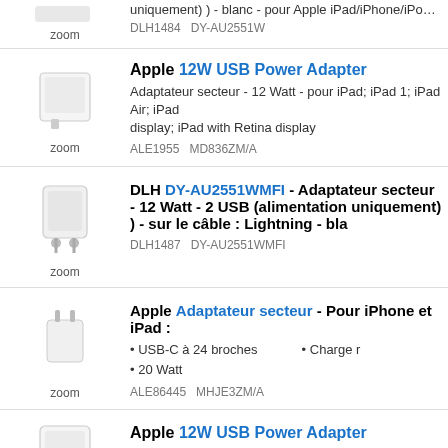uniquement) ) - blanc - pour Apple iPad/iPhone/iPod (Lightning
DLH1484   DY-AU2551W
Apple 12W USB Power Adapter
Adaptateur secteur - 12 Watt - pour iPad; iPad 1; iPad Air; iPad display; iPad with Retina display
ALE1955   MD836ZM/A
DLH DY-AU2551WMFI - Adaptateur secteur - 12 Watt - 2 USB (alimentation uniquement) ) - sur le câble : Lightning - bla
DLH1487   DY-AU2551WMFI
Apple Adaptateur secteur - Pour iPhone et iPad :
USB-C à 24 broches
20 Watt
Charge r
ALE86445   MHJE3ZM/A
Apple 12W USB Power Adapter
Adaptateur secteur - 12 Watt (USB) - pour iPad/iPhone/iPod